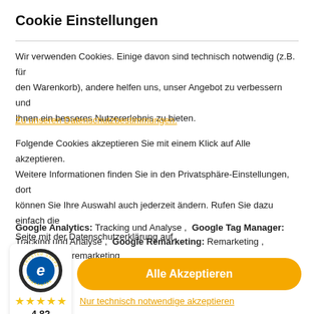Cookie Einstellungen
Wir verwenden Cookies. Einige davon sind technisch notwendig (z.B. für den Warenkorb), andere helfen uns, unser Angebot zu verbessern und Ihnen ein besseres Nutzererlebnis zu bieten.
Zu unseren Datenschutzbestimmungen.
Folgende Cookies akzeptieren Sie mit einem Klick auf Alle akzeptieren. Weitere Informationen finden Sie in den Privatsphäre-Einstellungen, dort können Sie Ihre Auswahl auch jederzeit ändern. Rufen Sie dazu einfach die Seite mit der Datenschutzerklärung auf.
Google Analytics: Tracking und Analyse , Google Tag Manager: Tracking und Analyse , Google Remarketing: Remarketing , Google Ads: Remarketing
[Figure (logo): Trusted Shops Guarantee badge with 'e' logo and stars rating]
★★★★★ 4,82
Alle Akzeptieren
Nur technisch notwendige akzeptieren